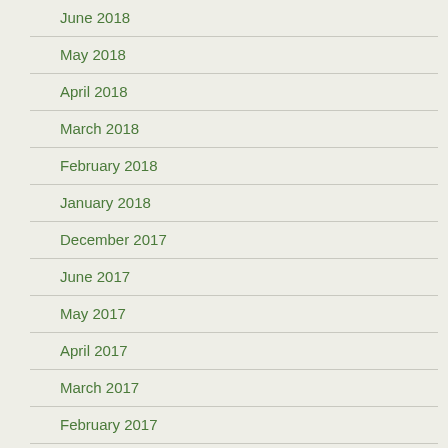June 2018
May 2018
April 2018
March 2018
February 2018
January 2018
December 2017
June 2017
May 2017
April 2017
March 2017
February 2017
January 2017
December 2016
June 2016